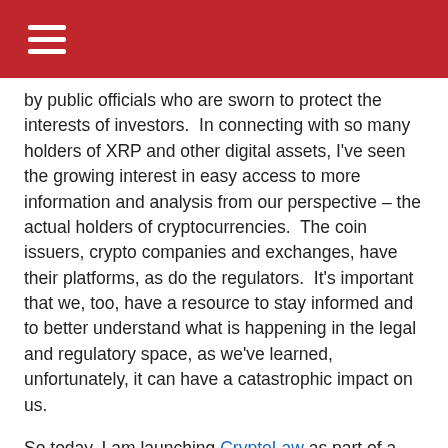by public officials who are sworn to protect the interests of investors.  In connecting with so many holders of XRP and other digital assets, I've seen the growing interest in easy access to more information and analysis from our perspective – the actual holders of cryptocurrencies.  The coin issuers, crypto companies and exchanges, have their platforms, as do the regulators.  It's important that we, too, have a resource to stay informed and to better understand what is happening in the legal and regulatory space, as we've learned, unfortunately, it can have a catastrophic impact on us.
So today, I am launching CryptoLaw as part of a solution.
The last half-decade was, by far, the most hostile period of overreaching government actions against cryptocurrencies since the emergence of blockchain